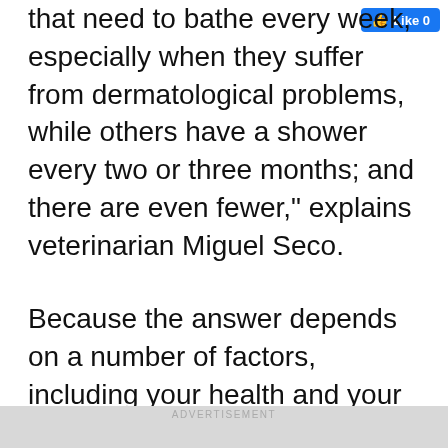[Figure (screenshot): Facebook Like button with count 0, blue background, white text]
that need to bathe every week, especially when they suffer from dermatological problems, while others have a shower every two or three months; and there are even fewer," explains veterinarian Miguel Seco.
Because the answer depends on a number of factors, including your health and your dog activity level or lifestyle. Thus, the number of baths recommended for your dog will change, especially, with
ADVERTISEMENT